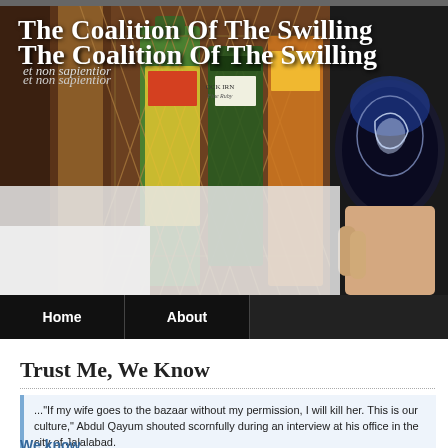The Coalition Of The Swilling
et non sapientior
[Figure (photo): Photo of liquor bottles behind a diamond-pattern metal lattice/grate, with a hand holding a dark beer glass with a wolf/lion logo etched on it. Background shows various spirits bottles including what appears to be Scotch whisky and other spirits.]
Home | About
Trust Me, We Know
..."If my wife goes to the bazaar without my permission, I will kill her. This is our culture," Abdul Qayum shouted scornfully during an interview at his office in the city of Jalalabad.
His colleagues laughed approvingly. "This is Afghanistan, not America," Qayum said.
We know